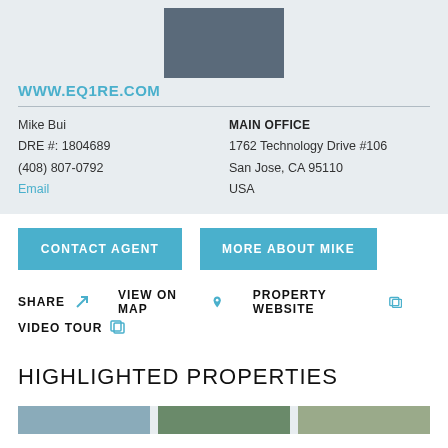[Figure (photo): Agent profile photo of man in suit, centered at top of card]
WWW.EQ1RE.COM
Mike Bui
DRE #: 1804689
(408) 807-0792
Email
MAIN OFFICE
1762 Technology Drive #106
San Jose, CA 95110
USA
CONTACT AGENT
MORE ABOUT MIKE
SHARE
VIEW ON MAP
PROPERTY WEBSITE
VIDEO TOUR
HIGHLIGHTED PROPERTIES
[Figure (photo): Bottom strip with three property thumbnail images partially visible]